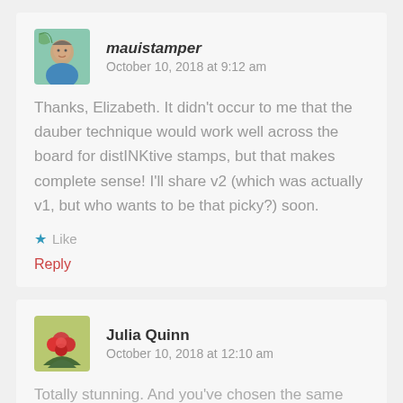mauistamper   October 10, 2018 at 9:12 am
Thanks, Elizabeth. It didn't occur to me that the dauber technique would work well across the board for distINKtive stamps, but that makes complete sense! I'll share v2 (which was actually v1, but who wants to be that picky?) soon.
Like
Reply
Julia Quinn   October 10, 2018 at 12:10 am
Totally stunning. And you've chosen the same image as...